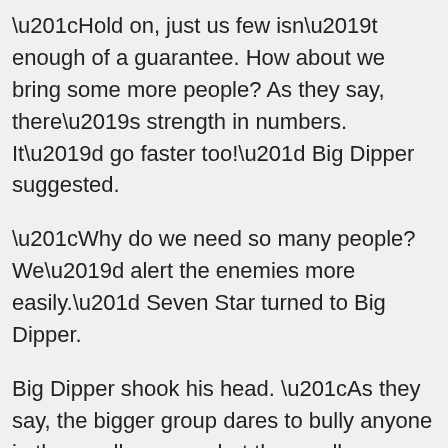“Hold on, just us few isn’t enough of a guarantee. How about we bring some more people? As they say, there’s strength in numbers. It’d go faster too!” Big Dipper suggested.
“Why do we need so many people? We’d alert the enemies more easily.” Seven Star turned to Big Dipper.
Big Dipper shook his head. “As they say, the bigger group dares to bully anyone in the smaller group, but the smaller group cowers and trembles when they meet the bigger group.”
Ye Wanwan glanced at Big Dipper. It sounded really reasonable…
After all, they didn’t know how many people Elder Jin